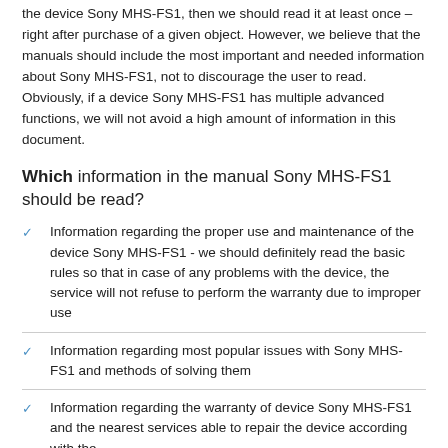the device Sony MHS-FS1, then we should read it at least once – right after purchase of a given object. However, we believe that the manuals should include the most important and needed information about Sony MHS-FS1, not to discourage the user to read. Obviously, if a device Sony MHS-FS1 has multiple advanced functions, we will not avoid a high amount of information in this document.
Which information in the manual Sony MHS-FS1 should be read?
Information regarding the proper use and maintenance of the device Sony MHS-FS1 - we should definitely read the basic rules so that in case of any problems with the device, the service will not refuse to perform the warranty due to improper use
Information regarding most popular issues with Sony MHS-FS1 and methods of solving them
Information regarding the warranty of device Sony MHS-FS1 and the nearest services able to repair the device according with the